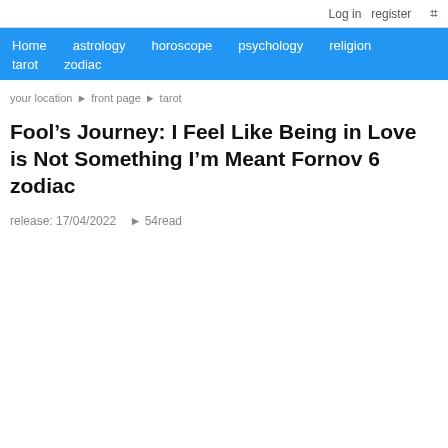Log in   register
Home   astrology   horoscope   psychology   religion   tarot   zodiac
your location ► front page ► tarot
Fool’s Journey: I Feel Like Being in Love is Not Something I’m Meant Fornov 6 zodiac
release: 17/04/2022   ► 54read